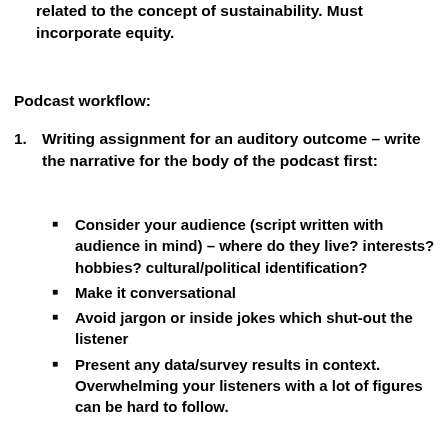Topic: intersection of human and natural systems related to the concept of sustainability. Must incorporate equity.
Podcast workflow:
1. Writing assignment for an auditory outcome – write the narrative for the body of the podcast first:
Consider your audience (script written with audience in mind) – where do they live? interests? hobbies? cultural/political identification?
Make it conversational
Avoid jargon or inside jokes which shut-out the listener
Present any data/survey results in context. Overwhelming your listeners with a lot of figures can be hard to follow.